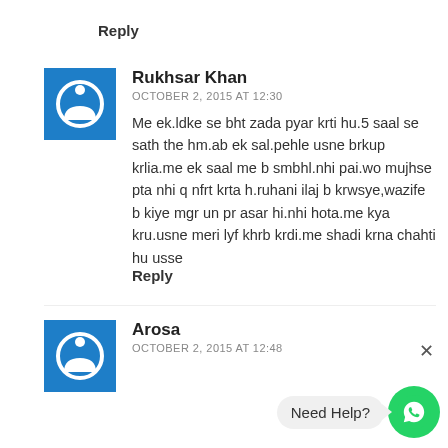Reply
Rukhsar Khan
OCTOBER 2, 2015 AT 12:30
Me ek.ldke se bht zada pyar krti hu.5 saal se sath the hm.ab ek sal.pehle usne brkup krlia.me ek saal me b smbhl.nhi pai.wo mujhse pta nhi q nfrt krta h.ruhani ilaj b krwsye,wazife b kiye mgr un pr asar hi.nhi hota.me kya kru.usne meri lyf khrb krdi.me shadi krna chahti hu usse
Reply
Arosa
OCTOBER 2, 2015 AT 12:48
[Figure (infographic): WhatsApp floating help button with 'Need Help?' speech bubble and green WhatsApp phone icon]